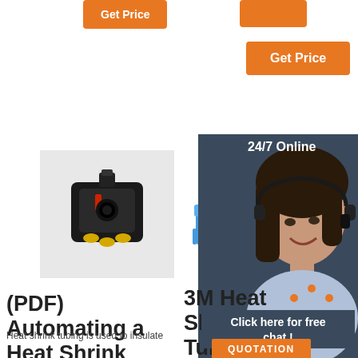[Figure (photo): Orange 'Get Price' button top left area]
[Figure (photo): Orange 'Get Price' button right side]
[Figure (photo): Black automotive electrical connector]
[Figure (photo): Assorted heat shrink terminal connectors in blue, yellow/gold and pink]
[Figure (photo): HP brand logo on yellow background (partial)]
[Figure (photo): Customer service woman with headset - 24/7 Online panel with QUOTATION button and TOP logo]
(PDF) Automating a Heat Shrink Tubing Process
3M Heat Shrink Tubing FP-301
2020-8-6u2002·u20023M FP-301 tubing is typically used as a shrink fit
Heat shrink tubing is used to insulate
Lead Tubing China Trade,Buy China Direct From Lead
24/7 Online
Click here for free chat !
QUOTATION
TOP